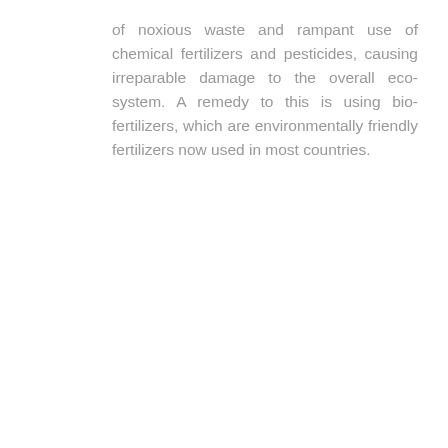of noxious waste and rampant use of chemical fertilizers and pesticides, causing irreparable damage to the overall eco- system. A remedy to this is using bio-fertilizers, which are environmentally friendly fertilizers now used in most countries.